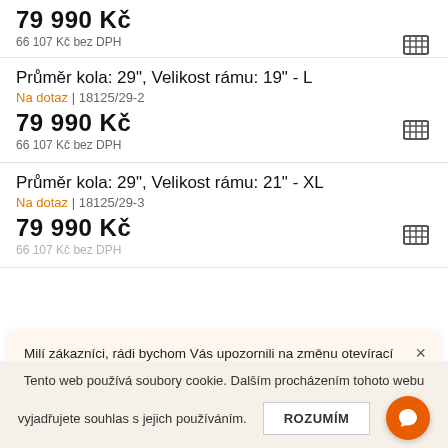79 990 Kč
66 107 Kč bez DPH
Průměr kola: 29", Velikost rámu: 19" - L
Na dotaz | 18125/29-2
79 990 Kč
66 107 Kč bez DPH
Průměr kola: 29", Velikost rámu: 21" - XL
Na dotaz | 18125/29-3
79 990 Kč
66 107 Kč bez DPH
Milí zákazníci, rádi bychom Vás upozornili na změnu otevírací doby. Prodejna bude otevřena od pondělí do pátku 9.00 - 12.00, 12.30 - 17.00. Sobota a neděle ZAVŘENO. Děkujeme za pochopení.
Tento web používá soubory cookie. Dalším procházením tohoto webu vyjadřujete souhlas s jejich používáním.
ROZUMÍM